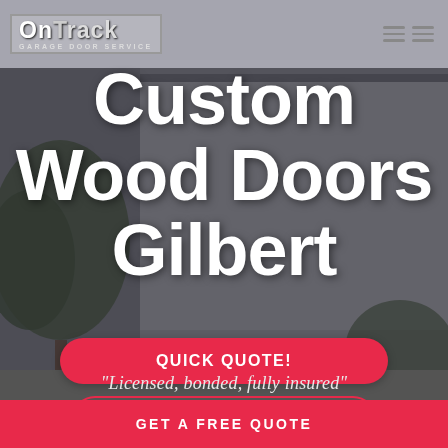[Figure (screenshot): Background photo of a commercial building with trees, overlaid with dark semi-transparent overlay]
On Track Garage Door Service — logo and hamburger menu
Custom Wood Doors Gilbert
QUICK QUOTE!
EMERGENCY SERVICE
"Licensed, bonded, fully insured"
GET A FREE QUOTE